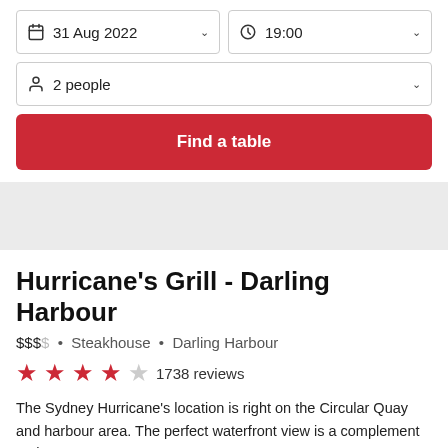31 Aug 2022
19:00
2 people
Find a table
Hurricane's Grill - Darling Harbour
$$$$ • Steakhouse • Darling Harbour
1738 reviews
The Sydney Hurricane's location is right on the Circular Quay and harbour area. The perfect waterfront view is a complement to the